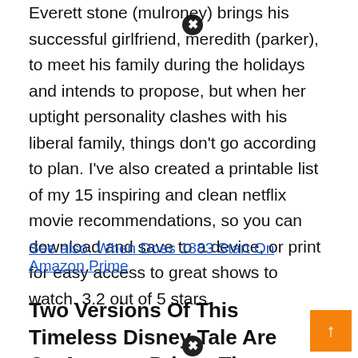Everett stone (mulroney) brings his successful girlfriend, meredith (parker), to meet his family during the holidays and intends to propose, but when her uptight personality clashes with his liberal family, things don't go according to plan. I've also created a printable list of my 15 inspiring and clean netflix movie recommendations, so you can download and save to a device, or print for easy access to great shows to watch. 3.2 out of 5 stars.
See also  When Does 1883 Start On Amazon Prime
Two Versions Of This Timeless Disney Tale Are On Amazon Prime. The 1961